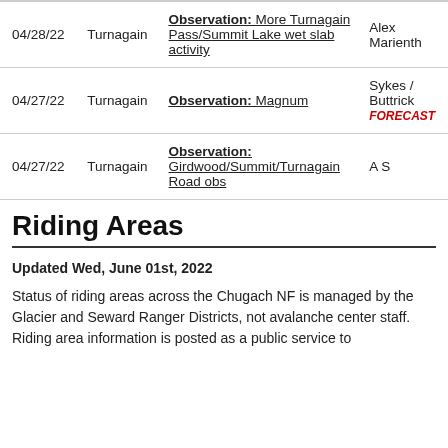| Date | Zone | Observation | Observer |
| --- | --- | --- | --- |
| 04/28/22 | Turnagain | Observation: More Turnagain Pass/Summit Lake wet slab activity | Alex Marienth |
| 04/27/22 | Turnagain | Observation: Magnum | Sykes / Buttrick FORECAST |
| 04/27/22 | Turnagain | Observation: Girdwood/Summit/Turnagain Road obs | A S |
Riding Areas
Updated Wed, June 01st, 2022
Status of riding areas across the Chugach NF is managed by the Glacier and Seward Ranger Districts, not avalanche center staff. Riding area information is posted as a public service to